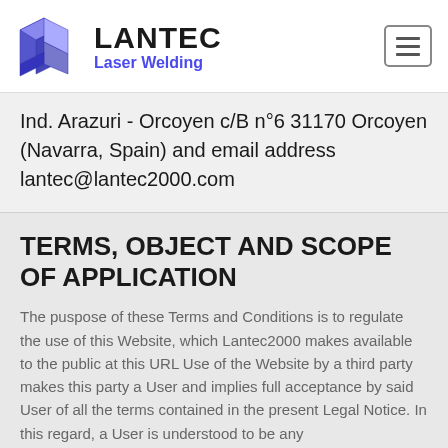LANTEC Laser Welding
Ind. Arazuri - Orcoyen c/B n°6 31170 Orcoyen (Navarra, Spain) and email address lantec@lantec2000.com
TERMS, OBJECT AND SCOPE OF APPLICATION
The puspose of these Terms and Conditions is to regulate the use of this Website, which Lantec2000 makes available to the public at this URL Use of the Website by a third party makes this party a User and implies full acceptance by said User of all the terms contained in the present Legal Notice. In this regard, a User is understood to be any